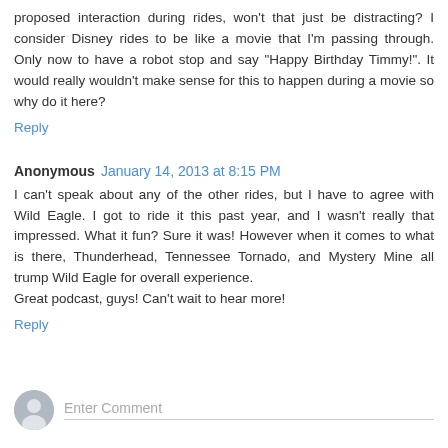proposed interaction during rides, won't that just be distracting? I consider Disney rides to be like a movie that I'm passing through. Only now to have a robot stop and say "Happy Birthday Timmy!". It would really wouldn't make sense for this to happen during a movie so why do it here?
Reply
Anonymous  January 14, 2013 at 8:15 PM
I can't speak about any of the other rides, but I have to agree with Wild Eagle. I got to ride it this past year, and I wasn't really that impressed. What it fun? Sure it was! However when it comes to what is there, Thunderhead, Tennessee Tornado, and Mystery Mine all trump Wild Eagle for overall experience.
Great podcast, guys! Can't wait to hear more!
Reply
Enter Comment